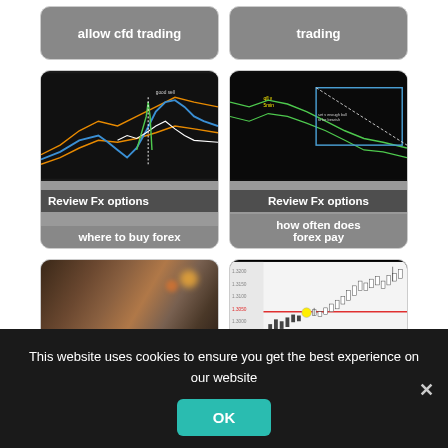[Figure (screenshot): Partial card showing 'allow cfd trading' text on grey background]
[Figure (screenshot): Partial card showing 'trading' text on grey background]
[Figure (screenshot): Card with dark trading chart image. Label: 'Review Fx options where to buy forex']
[Figure (screenshot): Card with dark trading chart image. Label: 'Review Fx options how often does forex pay']
[Figure (screenshot): Card with laptop photo. Label: 'Review Fx options what forex should i']
[Figure (screenshot): Card with candlestick chart image. Label: 'Review Fx options']
This website uses cookies to ensure you get the best experience on our website
OK